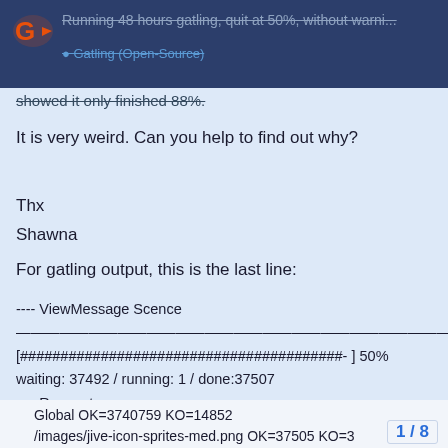Running 48 hours gatling, quit at 50%, without warni... | Gatling (Open-Source)
showed it only finished 88%.
It is very weird. Can you help to find out why?
Thx
Shawna
For gatling output, this is the last line:
---- ViewMessage Scence --------------------------------------------------------------------------------
[########################################- ] 50%
waiting: 37492 / running: 1 / done:37507
---- Requests -----------------------------------------------------------------------
Global OK=3740759 KO=14852
/images/jive-icon-sprites-med.png OK=37505 KO=3
/styles/jive-global.css OK=37502 KO=6
cslogin OK=599997 KO=113
cslogin Redirect 1 OK=599994 KO=3
cslogin Redirect 2 OK=599991 KO=0
1 / 8